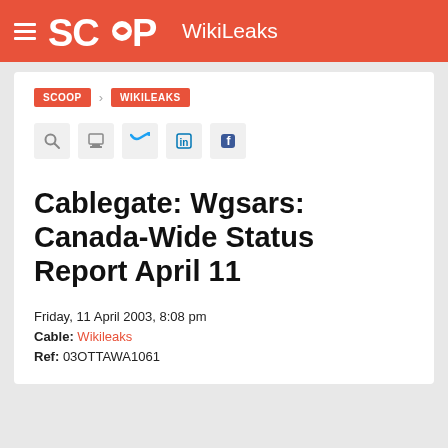SCOOP WikiLeaks
SCOOP > WIKILEAKS
Cablegate: Wgsars: Canada-Wide Status Report April 11
Friday, 11 April 2003, 8:08 pm
Cable: Wikileaks
Ref: 03OTTAWA1061